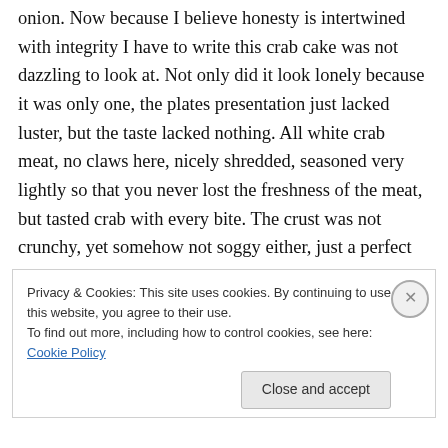onion. Now because I believe honesty is intertwined with integrity I have to write this crab cake was not dazzling to look at. Not only did it look lonely because it was only one, the plates presentation just lacked luster, but the taste lacked nothing. All white crab meat, no claws here, nicely shredded, seasoned very lightly so that you never lost the freshness of the meat, but tasted crab with every bite. The crust was not crunchy, yet somehow not soggy either, just a perfect coating that added texture to a sumptuous crab cake. Second course, lamb shank, mint, pappardelle ribbon pasta. I was never a person who favored a certain
Privacy & Cookies: This site uses cookies. By continuing to use this website, you agree to their use.
To find out more, including how to control cookies, see here: Cookie Policy
Close and accept